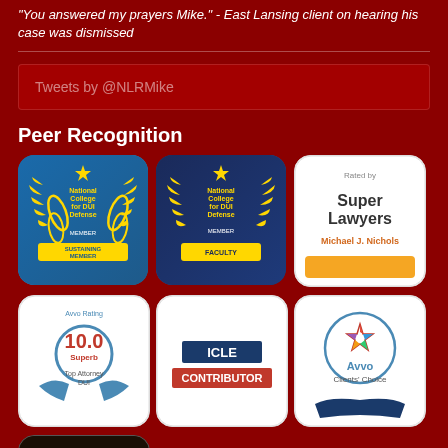"You answered my prayers Mike." - East Lansing client on hearing his case was dismissed
Tweets by @NLRMike
Peer Recognition
[Figure (illustration): National College for DUI Defense - Sustaining Member badge (blue/gold)]
[Figure (illustration): National College for DUI Defense - Faculty Member badge (dark blue/gold)]
[Figure (illustration): Rated by Super Lawyers - Michael J. Nichols badge (white/orange)]
[Figure (illustration): Avvo Rating 10.0 Superb - Top Attorney DUI badge (white/blue)]
[Figure (illustration): ICLE Contributor badge (white/red/blue)]
[Figure (illustration): Avvo Clients' Choice badge (white/blue)]
[Figure (illustration): Dark colored badge with house/building icon (partially visible)]